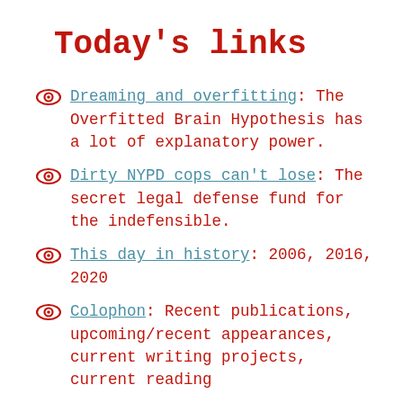Today's links
Dreaming and overfitting: The Overfitted Brain Hypothesis has a lot of explanatory power.
Dirty NYPD cops can't lose: The secret legal defense fund for the indefensible.
This day in history: 2006, 2016, 2020
Colophon: Recent publications, upcoming/recent appearances, current writing projects, current reading
Continue reading